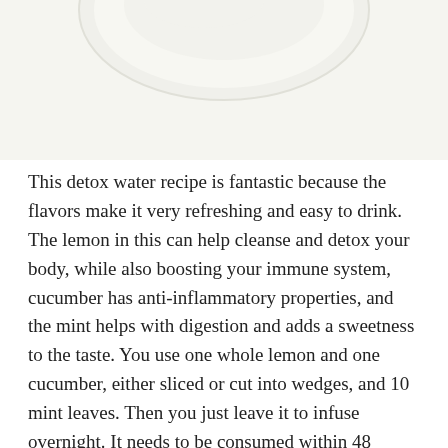[Figure (photo): Partial top view of a white bowl or plate with a light-colored liquid or food, cropped at the top of the page against a white background.]
This detox water recipe is fantastic because the flavors make it very refreshing and easy to drink. The lemon in this can help cleanse and detox your body, while also boosting your immune system, cucumber has anti-inflammatory properties, and the mint helps with digestion and adds a sweetness to the taste. You use one whole lemon and one cucumber, either sliced or cut into wedges, and 10 mint leaves. Then you just leave it to infuse overnight. It needs to be consumed within 48 hours, and can be made in a pitcher, filling half the pitcher with ice, before topping with water,